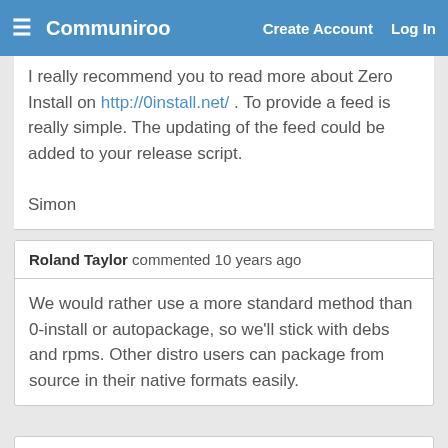Communiroo  Create Account  Log In
I really recommend you to read more about Zero Install on http://0install.net/ . To provide a feed is really simple. The updating of the feed could be added to your release script.

Simon
Roland Taylor commented 10 years ago
We would rather use a more standard method than 0-install or autopackage, so we'll stick with debs and rpms. Other distro users can package from source in their native formats easily.
Join the Discussion!